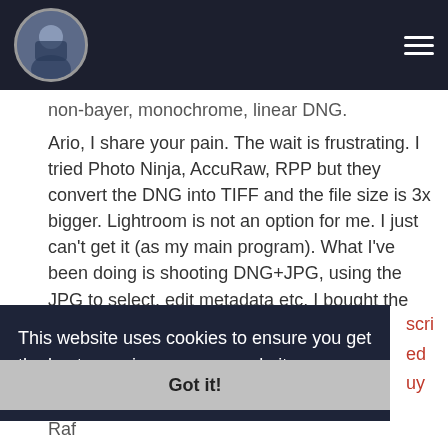non-bayer, monochrome, linear DNG.
Ario, I share your pain. The wait is frustrating. I tried Photo Ninja, AccuRaw, RPP but they convert the DNG into TIFF and the file size is 3x bigger. Lightroom is not an option for me. I just can't get it (as my main program). What I've been doing is shooting DNG+JPG, using the JPG to select, edit metadata etc. I bought the add-on "open Master with Lightroom" -
This website uses cookies to ensure you get the best experience on our website.
Learn more
Got it!
Raf